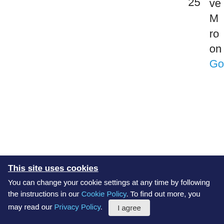25   ve... M... ro... on... Go...
26   va... nd... rti...
27   Bo... lso...
28   D'... D...
This site uses cookies
You can change your cookie settings at any time by following the instructions in our Cookie Policy. To find out more, you may read our Privacy Policy.
I agree